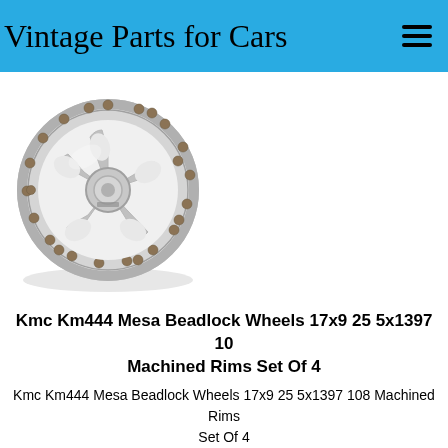Vintage Parts for Cars
[Figure (photo): A polished silver/white beadlock wheel rim (KMC KM444 Mesa Beadlock) with gold/bronze lug bolts around the outer ring, viewed at a slight angle on a white background.]
Kmc Km444 Mesa Beadlock Wheels 17x9 25 5x1397 108 Machined Rims Set Of 4
Kmc Km444 Mesa Beadlock Wheels 17x9 25 5x1397 108 Machined Rims Set Of 4